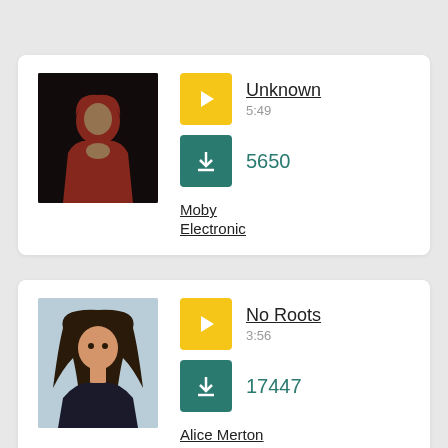[Figure (screenshot): Music listing card 1: photo of Moby in red hoodie, play button, track 'Unknown' 5:49, download count 5650, artist Moby, genre Electronic]
[Figure (screenshot): Music listing card 2: photo of Alice Merton, play button, track 'No Roots' 3:56, download count 17447, artist Alice Merton, genre Pop]